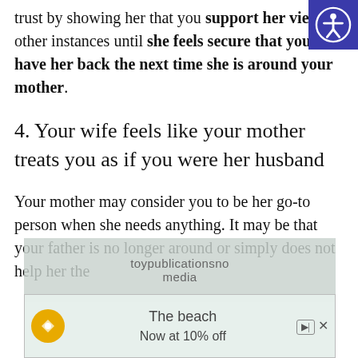trust by showing her that you support her views in other instances until she feels secure that you will have her back the next time she is around your mother.
4. Your wife feels like your mother treats you as if you were her husband
Your mother may consider you to be her go-to person when she needs anything. It may be that your father is no longer around or simply does not help her the
[Figure (other): Accessibility icon (person with arms out in circle) in blue square, top right corner]
[Figure (other): Advertisement overlay: beach travel ad showing 'The beach Now at 10% off' with yellow compass icon and beach background image]